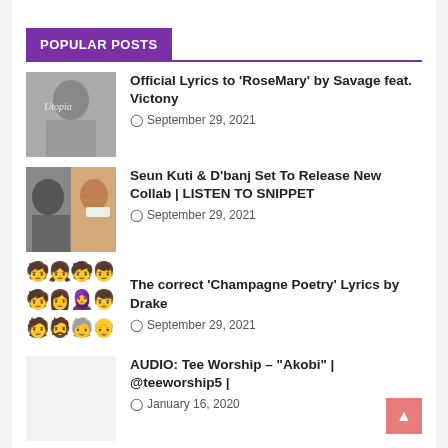POPULAR POSTS
Official Lyrics to 'RoseMary' by Savage feat. Victony — September 29, 2021
Seun Kuti & D'banj Set To Release New Collab | LISTEN TO SNIPPET — September 29, 2021
The correct 'Champagne Poetry' Lyrics by Drake — September 29, 2021
AUDIO: Tee Worship – "Akobi" | @teeworship5 | — January 16, 2020